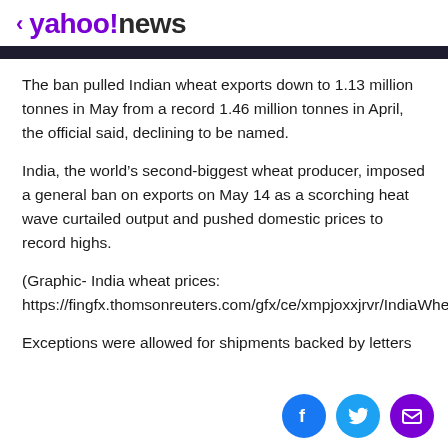< yahoo!news
The ban pulled Indian wheat exports down to 1.13 million tonnes in May from a record 1.46 million tonnes in April, the official said, declining to be named.
India, the world's second-biggest wheat producer, imposed a general ban on exports on May 14 as a scorching heat wave curtailed output and pushed domestic prices to record highs.
(Graphic- India wheat prices: https://fingfx.thomsonreuters.com/gfx/ce/xmpjoxxjrvr/IndiaWheatPrices.png)
Exceptions were allowed for shipments backed by letters